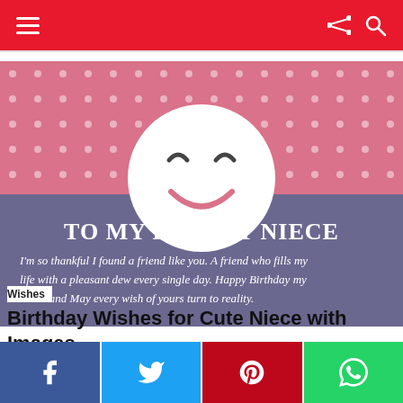Navigation bar with hamburger menu, share icon, and search icon
[Figure (illustration): Birthday card for niece: pink polka-dot top half with smiling face emoji circle, purple lower half with text 'To my lovely Niece' and italic quote about friendship and Happy Birthday wishes]
Wishes
Birthday Wishes for Cute Niece with Images
Social share buttons: Facebook, Twitter, Pinterest, WhatsApp